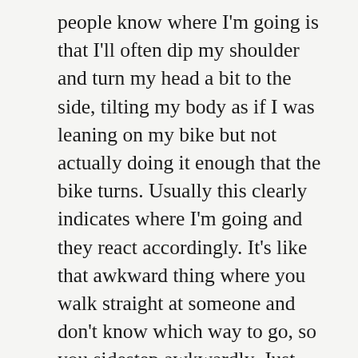people know where I'm going is that I'll often dip my shoulder and turn my head a bit to the side, tilting my body as if I was leaning on my bike but not actually doing it enough that the bike turns. Usually this clearly indicates where I'm going and they react accordingly. It's like that awkward thing where you walk straight at someone and don't know which way to go, so you sidestep awkwardly. Just… higher speed.
9. Bike in front of where a pedestrian will be when you cross their path. This is probably the most controversial and debatable guideline. In many cases, I don't even do it, but